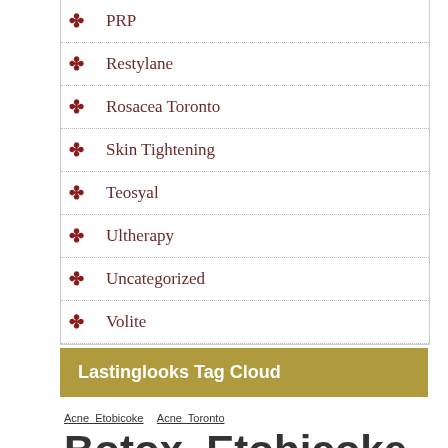PRP
Restylane
Rosacea Toronto
Skin Tightening
Teosyal
Ultherapy
Uncategorized
Volite
Lastinglooks Tag Cloud
Acne Etobicoke  Acne Toronto  Botox Etobicoke  Botox Toronto  Brown Spots Etobicoke  Brown spots Toronto  chemical peels etobicoke  chemical peels toronto  dermal fillers toronto  IPL